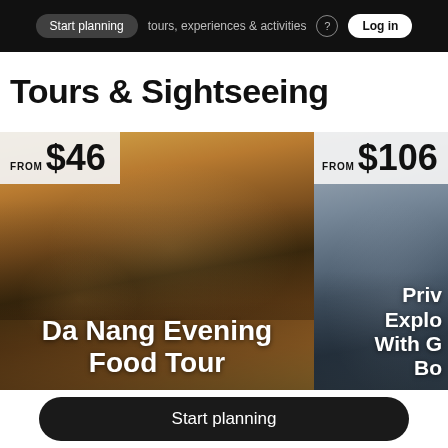Start planning  tours, experiences & activities  [?]  Log in
Tours & Sightseeing
[Figure (photo): Group of people dining together at a food tour in Da Nang, evening street scene visible in background. Price badge: FROM $46.]
Da Nang Evening Food Tour
[Figure (photo): Partially visible card showing people on a tour, price FROM $106, title partially cut off: Priv... Explo... With G... Bo...]
Start planning